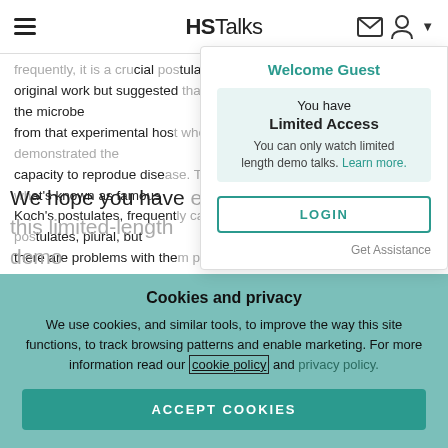HSTalks
frequently, it is a crucial postulate that original work but suggested that you have the microbe from that experimental host where you've demonstrated the capacity to reproduce disease. These are what's known as famous Koch's postulates, frequently called Koch's postulates, plural, but there are problems with them, particularly in the modern era and we'll go into those shortly.
We hope you have enjoyed this limited-length demo
Welcome Guest
You have
Limited Access
You can only watch limited length demo talks. Learn more.
LOGIN
Get Assistance
Cookies and privacy
We use cookies, and similar tools, to improve the way this site functions, to track browsing patterns and enable marketing. For more information read our cookie policy and privacy policy.
ACCEPT COOKIES